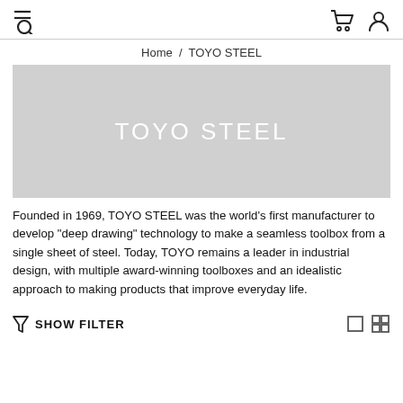Navigation header with search/filter icon, cart icon, and user icon
Home / TOYO STEEL
[Figure (illustration): Gray banner placeholder image with white text 'TOYO STEEL' centered]
Founded in 1969, TOYO STEEL was the world's first manufacturer to develop "deep drawing" technology to make a seamless toolbox from a single sheet of steel. Today, TOYO remains a leader in industrial design, with multiple award-winning toolboxes and an idealistic approach to making products that improve everyday life.
SHOW FILTER with grid view toggle icons